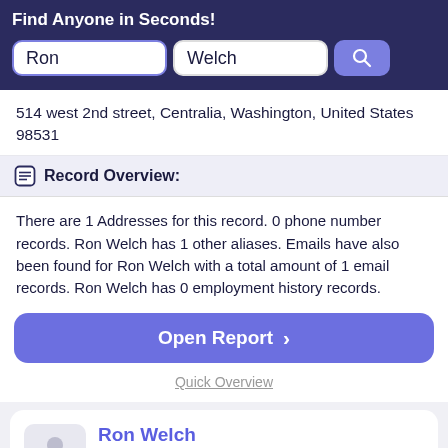Find Anyone in Seconds!
Ron
Welch
514 west 2nd street, Centralia, Washington, United States 98531
Record Overview:
There are 1 Addresses for this record. 0 phone number records. Ron Welch has 1 other aliases. Emails have also been found for Ron Welch with a total amount of 1 email records. Ron Welch has 0 employment history records.
Open Report >
Quick Overview
Ron Welch
Arizona